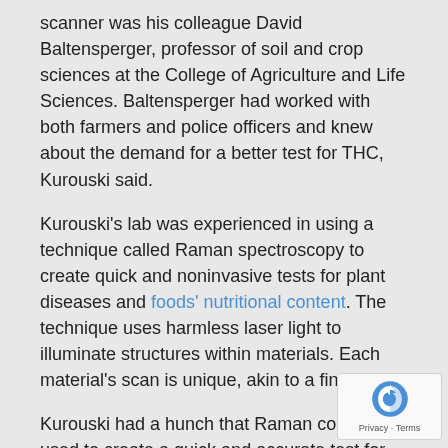scanner was his colleague David Baltensperger, professor of soil and crop sciences at the College of Agriculture and Life Sciences. Baltensperger had worked with both farmers and police officers and knew about the demand for a better test for THC, Kurouski said.
Kurouski's lab was experienced in using a technique called Raman spectroscopy to create quick and noninvasive tests for plant diseases and foods' nutritional content. The technique uses harmless laser light to illuminate structures within materials. Each material's scan is unique, akin to a fingerprint.
Kurouski had a hunch that Raman could be used to create a quick and accurate test for THC. A portable Raman scanner had been utilized for previous studies by lab members Lee Sanchez, a research assistant, and Charles Farber, a graduate student.